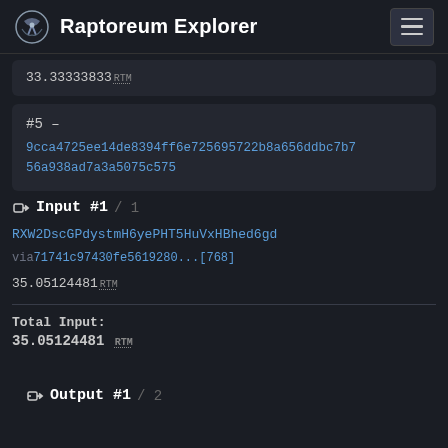Raptoreum Explorer
33.33333833 RTM
#5 – 9cca4725ee14de8394ff6e725695722b8a656ddbc7b756a938ad7a3a5075c575
Input #1 / 1
RXW2DscGPdystmH6yePHT5HuVxHBhed6gd
via 71741c97430fe5619280...[768]
35.05124481 RTM
Total Input: 35.05124481 RTM
Output #1 / 2